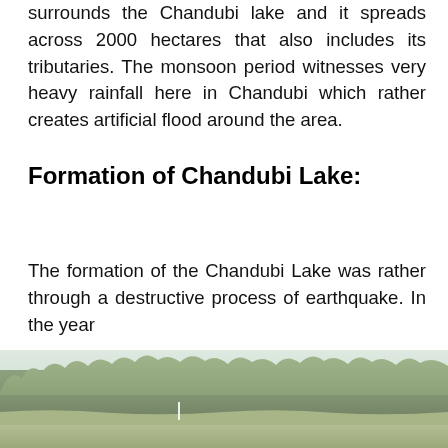surrounds the Chandubi lake and it spreads across 2000 hectares that also includes its tributaries. The monsoon period witnesses very heavy rainfall here in Chandubi which rather creates artificial flood around the area.
Formation of Chandubi Lake:
The formation of the Chandubi Lake was rather through a destructive process of earthquake. In the year
[Figure (photo): Landscape photo of Chandubi Lake area showing a wide field in the foreground with dense forest treeline in the background under a hazy sky.]